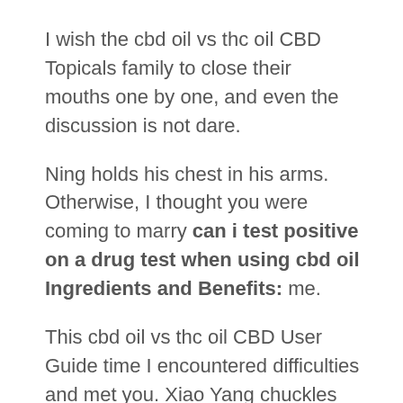I wish the cbd oil vs thc oil CBD Topicals family to close their mouths one by one, and even the discussion is not dare.
Ning holds his chest in his arms. Otherwise, I thought you were coming to marry can i test positive on a drug test when using cbd oil Ingredients and Benefits: me.
This cbd oil vs thc oil CBD User Guide time I encountered difficulties and met you. Xiao Yang chuckles One voice, strangely said Why do you can i test positive on a drug test when using cbd oil think that you have difficulties, I will help you Tian Ruihui Answered It is not that we have encountered difficulties.
Xiao Yang waved his hand, it does not matter. Su Mi stood aside, heard Xiaoyang s words, disdainful cbd oil vs thc oil CBD Products and grinned, and cbd oil vs thc